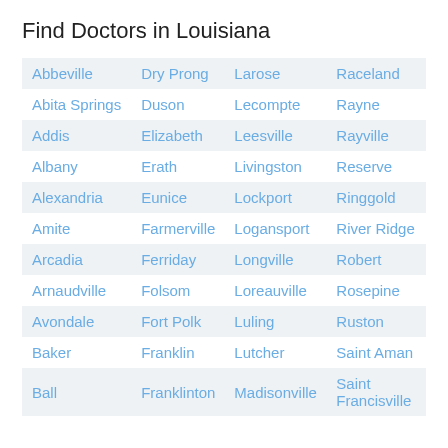Find Doctors in Louisiana
| Col1 | Col2 | Col3 | Col4 |
| --- | --- | --- | --- |
| Abbeville | Dry Prong | Larose | Raceland |
| Abita Springs | Duson | Lecompte | Rayne |
| Addis | Elizabeth | Leesville | Rayville |
| Albany | Erath | Livingston | Reserve |
| Alexandria | Eunice | Lockport | Ringgold |
| Amite | Farmerville | Logansport | River Ridge |
| Arcadia | Ferriday | Longville | Robert |
| Arnaudville | Folsom | Loreauville | Rosepine |
| Avondale | Fort Polk | Luling | Ruston |
| Baker | Franklin | Lutcher | Saint Aman |
| Ball | Franklinton | Madisonville | Saint Francisville |